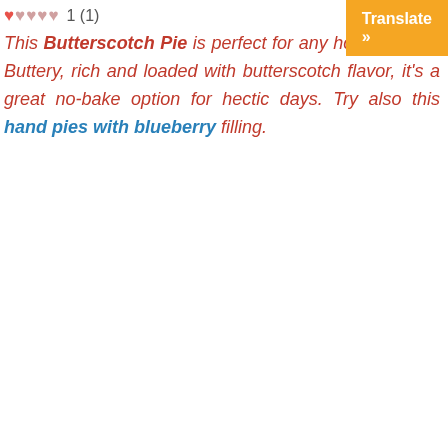1 (1)
[Figure (other): Translate button - orange rectangle with white text 'Translate »']
This Butterscotch Pie is perfect for any holiday meal! Buttery, rich and loaded with butterscotch flavor, it's a great no-bake option for hectic days. Try also this hand pies with blueberry filling.